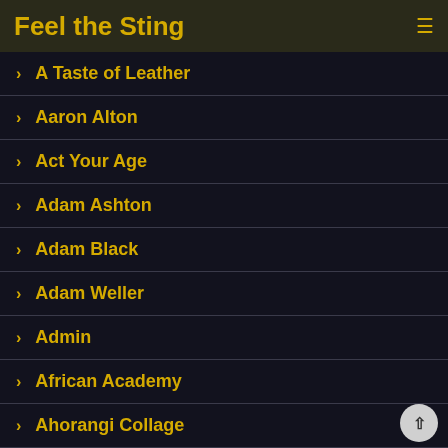Feel the Sting
> A Taste of Leather
> Aaron Alton
> Act Your Age
> Adam Ashton
> Adam Black
> Adam Weller
> Admin
> African Academy
> Ahorangi Collage
> Aiden Jason
> Alan Pekny